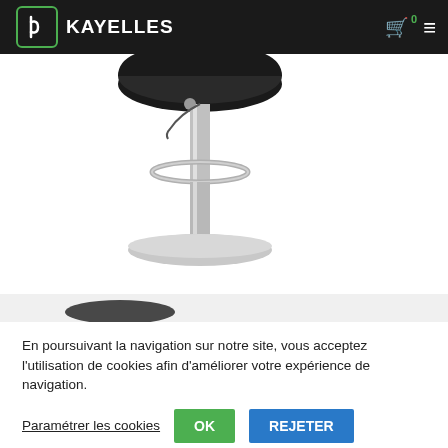KAYELLES — cart 0
[Figure (photo): Photo of a bar stool with black upholstered seat, chrome pedestal base and footrest ring, on white background. Below it a partial thumbnail strip showing another view of the stool.]
En poursuivant la navigation sur notre site, vous acceptez l'utilisation de cookies afin d'améliorer votre expérience de navigation.
Paramétrer les cookies
OK
REJETER